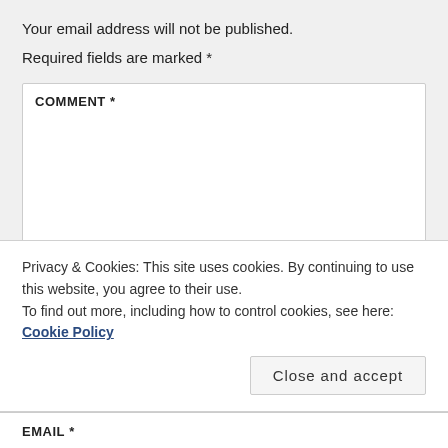Your email address will not be published.
Required fields are marked *
COMMENT *
Privacy & Cookies: This site uses cookies. By continuing to use this website, you agree to their use.
To find out more, including how to control cookies, see here: Cookie Policy
Close and accept
EMAIL *